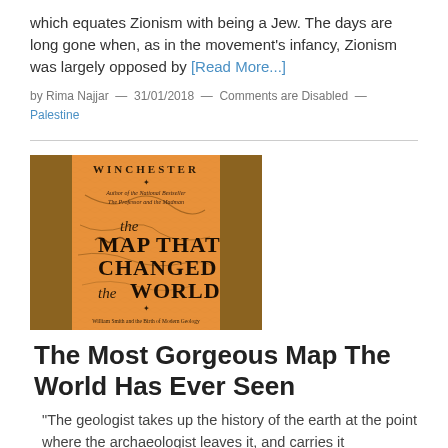which equates Zionism with being a Jew. The days are long gone when, as in the movement's infancy, Zionism was largely opposed by [Read More...]
by Rima Najjar — 31/01/2018 — Comments are Disabled — Palestine
[Figure (illustration): Book cover: 'The Map That Changed the World' by Winchester, Author of the National Bestseller The Professor and the Madman. Subtitle: William Smith and the Birth of Modern Geology. Brown and orange tones with antique map imagery.]
The Most Gorgeous Map The World Has Ever Seen
“The geologist takes up the history of the earth at the point where the archaeologist leaves it, and carries it